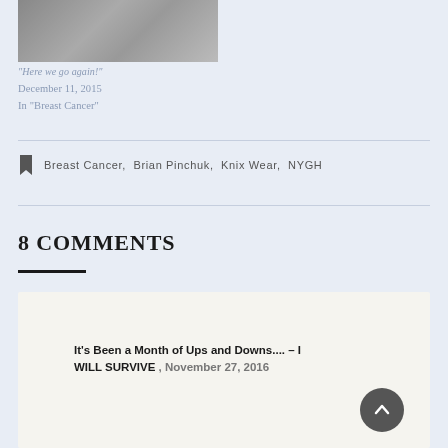[Figure (photo): A photograph showing people, partially visible at the top of the page]
"Here we go again!"
December 11, 2015
In "Breast Cancer"
Breast Cancer,  Brian Pinchuk,  Knix Wear,  NYGH
8 COMMENTS
It's Been a Month of Ups and Downs.... – I WILL SURVIVE ,  November 27, 2016